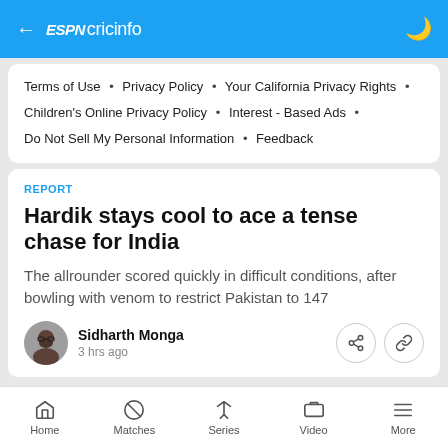ESPN cricinfo
Terms of Use • Privacy Policy • Your California Privacy Rights • Children's Online Privacy Policy • Interest - Based Ads • Do Not Sell My Personal Information • Feedback
REPORT
Hardik stays cool to ace a tense chase for India
The allrounder scored quickly in difficult conditions, after bowling with venom to restrict Pakistan to 147
Sidharth Monga
3 hrs ago
Home • Matches • Series • Video • More